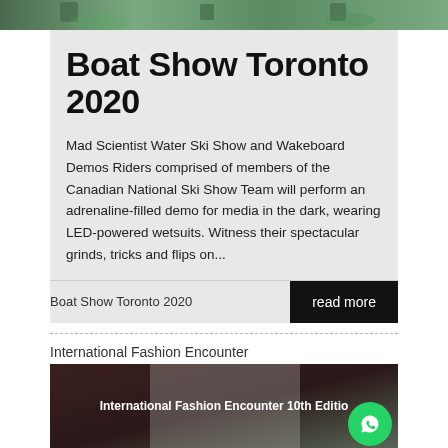[Figure (photo): Top image strip showing water ski show or kayaking scene with green colors]
Boat Show Toronto 2020
Mad Scientist Water Ski Show and Wakeboard Demos Riders comprised of members of the Canadian National Ski Show Team will perform an adrenaline-filled demo for media in the dark, wearing LED-powered wetsuits. Witness their spectacular grinds, tricks and flips on...
Boat Show Toronto 2020
read more
International Fashion Encounter
[Figure (photo): International Fashion Encounter 10th Edition promo image with dark background and overlaid text]
[Figure (logo): WhatsApp circular green button with phone icon in bottom right corner]